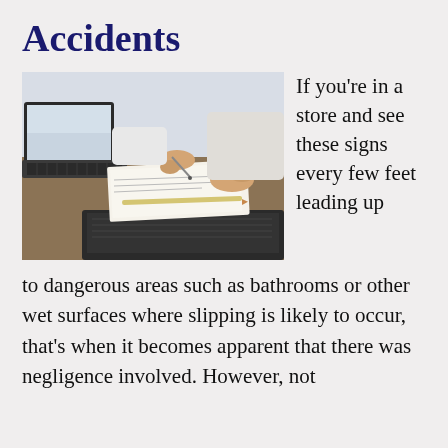Accidents
[Figure (photo): Two people at a desk with laptops, papers, and a pen — an office/meeting scene photographed from above at an angle.]
If you're in a store and see these signs every few feet leading up to dangerous areas such as bathrooms or other wet surfaces where slipping is likely to occur, that's when it becomes apparent that there was negligence involved. However, not